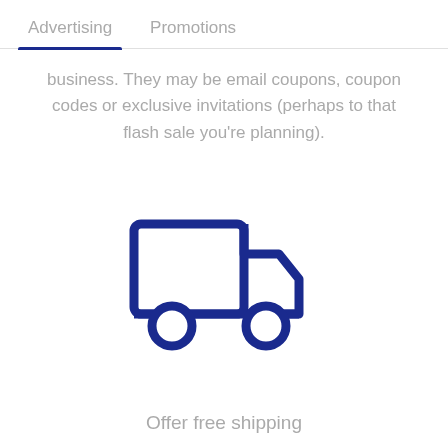Advertising   Promotions
business. They may be email coupons, coupon codes or exclusive invitations (perhaps to that flash sale you're planning).
[Figure (illustration): Dark navy blue outline icon of a delivery truck facing right, with two circular wheels visible, a rectangular cargo body and a cab with angled windshield.]
Offer free shipping